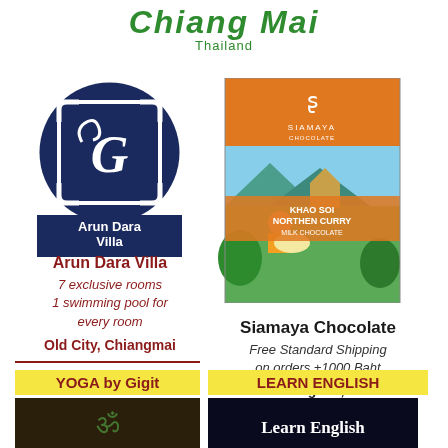Chiang Mai
Thailand
[Figure (logo): Arun Dara Villa circular logo with white decorative design on dark navy blue background]
Arun Dara Villa
7 exclusive rooms
1 swimming pool for every room
Old City, Chiangmai
[Figure (illustration): Siamaya Chocolate bar packaging - Khao Soi Northern Curry Milk Chocolate with illustrated scene of person eating noodles with Thai temple in background]
Siamaya Chocolate
Free Standard Shipping on orders +1000 Baht
Chiangmai, TH
YOGA by Gigit
LEARN ENGLISH
[Figure (photo): Yoga by Gigit - dark colored image with Om symbol]
[Figure (photo): Learn English - dark image with text Learn English]